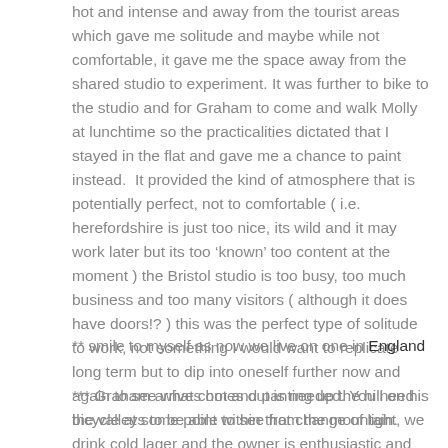hot and intense and away from the tourist areas which gave me solitude and maybe while not comfortable, it gave me the space away from the shared studio to experiment. It was further to bike to the studio and for Graham to come and walk Molly at lunchtime so the practicalities dictated that I stayed in the flat and gave me a chance to paint instead.  It provided the kind of atmosphere that is potentially perfect, not to comfortable ( i.e. herefordshire is just too nice, its wild and it may work later but its too ‘known’ too content at the moment ) the Bristol studio is too busy, too much business and too many visitors ( although it does have doors!? ) this was the perfect type of solitude to work, not something I would want to replicate long term but to dip into oneself further now and again to see what comes out is needed. You need the valleys to be able to see from the mountain.
** smile to myself as now we live on one in England
*** Graham arrives hot and panting up the hill on his bicycle at some point within that change of light, we drink cold lager and the owner is enthusiastic and we